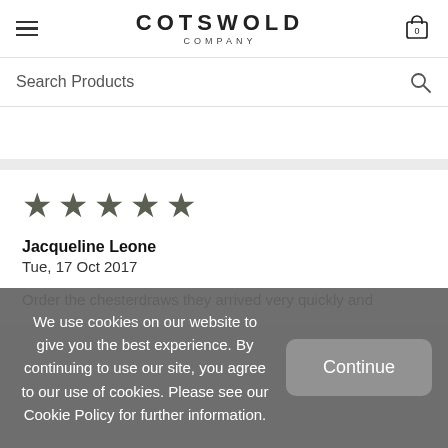COTSWOLD COMPANY
Search Products
★★★★★
Jacqueline Leone
Tue, 17 Oct 2017
Order the chesterdraws they arrived very quickly and
We use cookies on our website to give you the best experience. By continuing to use our site, you agree to our use of cookies. Please see our Cookie Policy for further information.